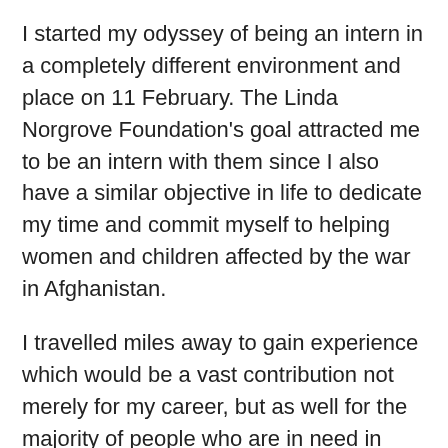I started my odyssey of being an intern in a completely different environment and place on 11 February. The Linda Norgrove Foundation's goal attracted me to be an intern with them since I also have a similar objective in life to dedicate my time and commit myself to helping women and children affected by the war in Afghanistan.
I travelled miles away to gain experience which would be a vast contribution not merely for my career, but as well for the majority of people who are in need in Afghanistan. I believe Linda also had the same vision which made her travel miles away and help people.
My first week passed by with a thorough review of the projects that the Foundation is funding in Afghanistan. I have further been directed towards the transparency of the process that makes the projects eligible to be